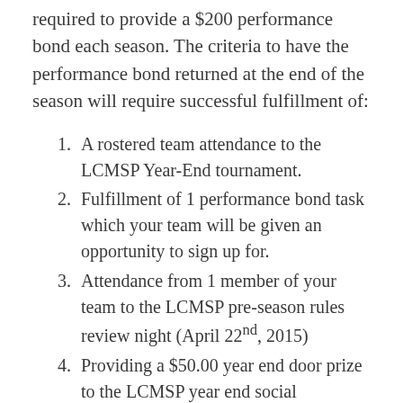required to provide a $200 performance bond each season. The criteria to have the performance bond returned at the end of the season will require successful fulfillment of:
A rostered team attendance to the LCMSP Year-End tournament.
Fulfillment of 1 performance bond task which your team will be given an opportunity to sign up for.
Attendance from 1 member of your team to the LCMSP pre-season rules review night (April 22nd, 2015)
Providing a $50.00 year end door prize to the LCMSP year end social